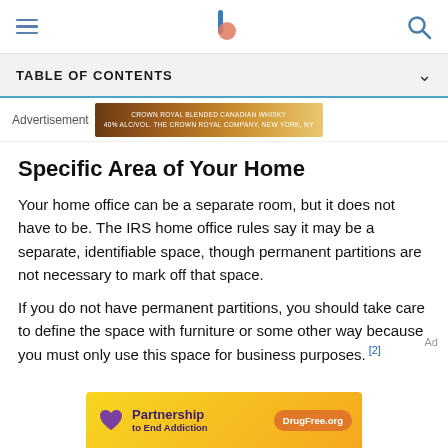[Navigation header with hamburger menu, logo, and search icon]
TABLE OF CONTENTS
[Figure (other): Advertisement banner for Crown Royal Canadian Whisky]
Specific Area of Your Home
Your home office can be a separate room, but it does not have to be. The IRS home office rules say it may be a separate, identifiable space, though permanent partitions are not necessary to mark off that space.
If you do not have permanent partitions, you should take care to define the space with furniture or some other way because you must only use this space for business purposes.[2]
[Figure (other): Advertisement banner for Partnership to End Addiction / DrugFree.org]